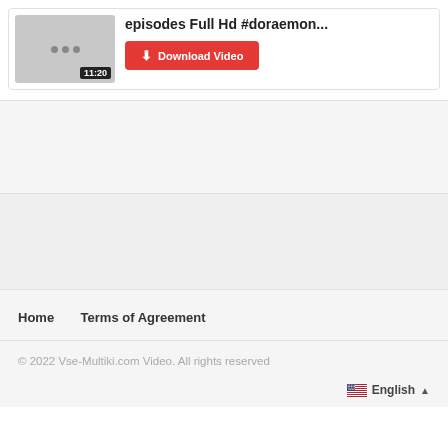[Figure (screenshot): Video thumbnail with gray background showing three dots icon and duration label 11:20]
episodes Full Hd #doraemon...
Download Video
Home    Terms of Agreement
© 2022 Vse-Multiki.com Video. All rights reserved
English